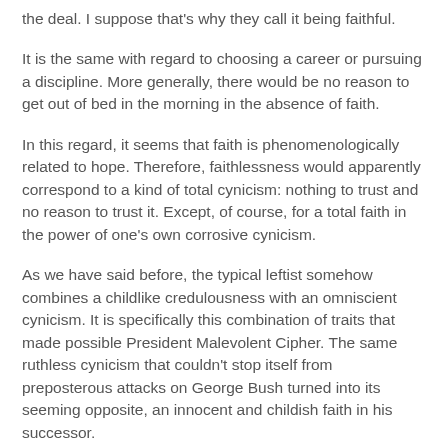the deal. I suppose that's why they call it being faithful.
It is the same with regard to choosing a career or pursuing a discipline. More generally, there would be no reason to get out of bed in the morning in the absence of faith.
In this regard, it seems that faith is phenomenologically related to hope. Therefore, faithlessness would apparently correspond to a kind of total cynicism: nothing to trust and no reason to trust it. Except, of course, for a total faith in the power of one's own corrosive cynicism.
As we have said before, the typical leftist somehow combines a childlike credulousness with an omniscient cynicism. It is specifically this combination of traits that made possible President Malevolent Cipher. The same ruthless cynicism that couldn't stop itself from preposterous attacks on George Bush turned into its seeming opposite, an innocent and childish faith in his successor.
As I wrote once upon a post, "contemporary philosophy does not begin with a sense of wonder, nor does it attempt to cultivate it. Rather, it begins with the capacity to doubt, and